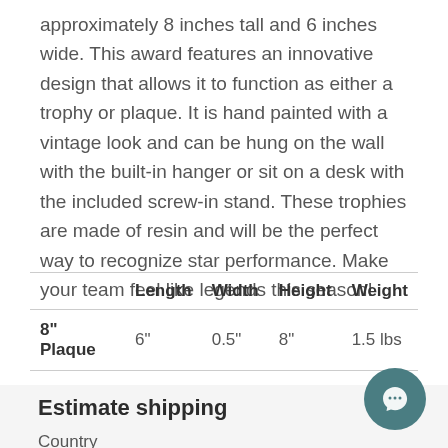approximately 8 inches tall and 6 inches wide. This award features an innovative design that allows it to function as either a trophy or plaque. It is hand painted with a vintage look and can be hung on the wall with the built-in hanger or sit on a desk with the included screw-in stand. These trophies are made of resin and will be the perfect way to recognize star performance. Make your team feel like legends this season!
|  | Length | Width | Height | Weight |
| --- | --- | --- | --- | --- |
| 8" Plaque | 6" | 0.5" | 8" | 1.5 lbs |
Estimate shipping
Country